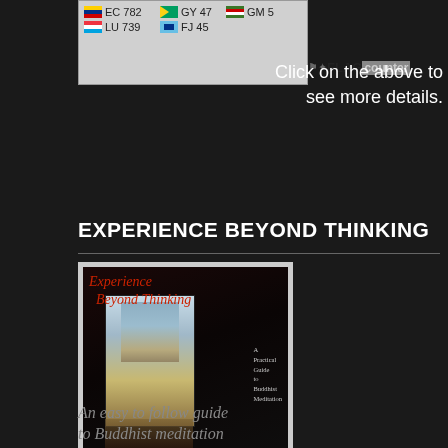[Figure (screenshot): Flag counter widget showing country flags with visit counts: EC 782, LU 739, GY 47, FJ 45, GM 5]
Click on the above to see more details.
EXPERIENCE BEYOND THINKING
[Figure (photo): Book cover of 'Experience Beyond Thinking: A Practical Guide to Buddhist Meditation' by Diana St Ruth. Dark cover with red italic title text and a view through a doorway to temple.]
An easy to follow guide to Buddhist meditation